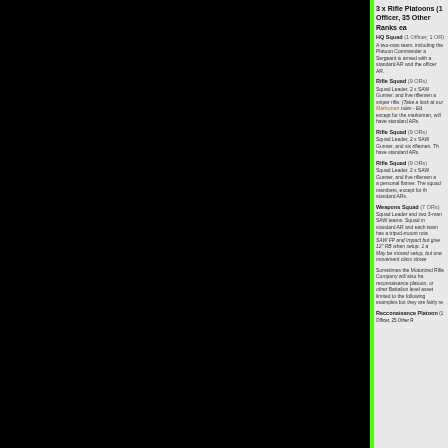3 x Rifle Platoons (1 Officer, 35 Other Ranks each)
HQ Squad (1 Officer, 1 OR)
A two-man team, including the Platoon Commander and Platoon Sergeant. The Sergeant is armed with a standard AR and the officer may also have a standard AR.
Rifle Squad (9 ORs)
Squad Leader, 2 x SAW Gunner, and five riflemen and one marksman with a sniper rifle. (Take a look at our Marksmen rules - Ed.) The squad members, except for the marksman, will have standard ARs.
Rifle Squad (9 ORs)
Squad Leader, 2 x SAW Gunner, and six riflemen. The squad members will have standard ARs.
Rifle Squad (9 ORs)
Squad Leader, 2 x SAW Gunner, and five riflemen and one man armed with a personal flamer. The squad members, except for the flamer, will have standard ARs.
Weapons Squad (7 ORs)
Squad Leader and two 3-man SAW teams. Squad members are armed with standard AR and each team has a tripod-mount rotary SAW. SAW FP and Impact but give 12" RB when setup. 1 action to setup/breakdown. May be moved setup, but one movement class slower.
Sometimes the Motorized Rifle Company will also have a mortar platoon, reconnaisance platoon, or other Battalion level assets attached. This list is not limited to the following examples but they are fairly representative.
Recconaisance Platoon (1 Officer, 25 Other Ranks)